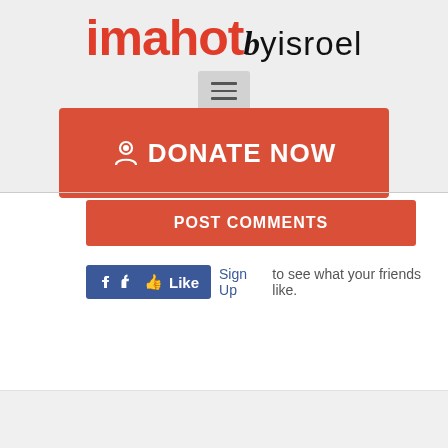[Figure (logo): imahotbyisroel logo — 'imahot' in bold red, 'b' in black italic serif, 'yisroel' in black sans-serif]
[Figure (screenshot): Hamburger menu button (three horizontal lines) on a light gray background]
[Figure (screenshot): Red 'DONATE NOW' button with a dollar/person icon]
[Figure (screenshot): Partially visible red 'Post Comments' button]
[Figure (screenshot): Facebook Like widget: blue Like button with thumbs up, 'Sign Up to see what your friends like.']